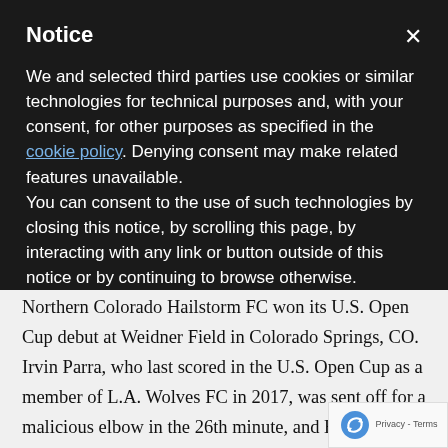Notice
We and selected third parties use cookies or similar technologies for technical purposes and, with your consent, for other purposes as specified in the cookie policy. Denying consent may make related features unavailable.
You can consent to the use of such technologies by closing this notice, by scrolling this page, by interacting with any link or button outside of this notice or by continuing to browse otherwise.
Northern Colorado Hailstorm FC won its U.S. Open Cup debut at Weidner Field in Colorado Springs, CO. Irvin Parra, who last scored in the U.S. Open Cup as a member of L.A. Wolves FC in 2017, was sent off for a malicious elbow in the 26th minute, and Hailstorm played with only 10 men for the final 60-plus minutes of regular time. The match finished with even numbers after Switchbacks FC's Tristan Hodge received his second yellow card and was sent off in the first period of overtime. Switchbacks FC's Macaulay King had a shot